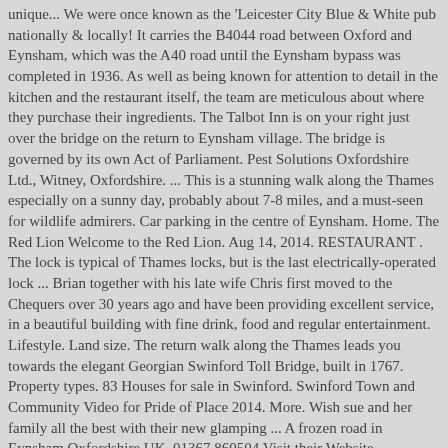unique... We were once known as the 'Leicester City Blue & White pub nationally & locally! It carries the B4044 road between Oxford and Eynsham, which was the A40 road until the Eynsham bypass was completed in 1936. As well as being known for attention to detail in the kitchen and the restaurant itself, the team are meticulous about where they purchase their ingredients. The Talbot Inn is on your right just over the bridge on the return to Eynsham village. The bridge is governed by its own Act of Parliament. Pest Solutions Oxfordshire Ltd., Witney, Oxfordshire. ... This is a stunning walk along the Thames especially on a sunny day, probably about 7-8 miles, and a must-seen for wildlife admirers. Car parking in the centre of Eynsham. Home. The Red Lion Welcome to the Red Lion. Aug 14, 2014. RESTAURANT . The lock is typical of Thames locks, but is the last electrically-operated lock ... Brian together with his late wife Chris first moved to the Chequers over 30 years ago and have been providing excellent service, in a beautiful building with fine drink, food and regular entertainment. Lifestyle. Land size. The return walk along the Thames leads you towards the elegant Georgian Swinford Toll Bridge, built in 1767. Property types. 83 Houses for sale in Swinford. Swinford Town and Community Video for Pride of Place 2014. More. Wish sue and her family all the best with their new glamping ... A frozen road in Eynsham Oxfordshire UK. 01367 860504 Visit their Website.